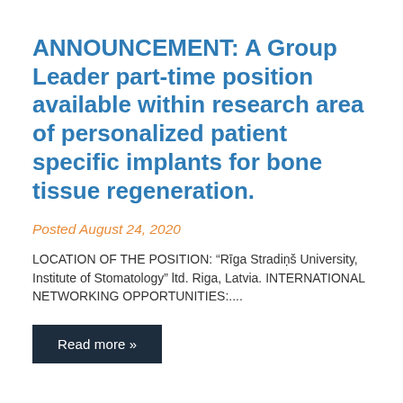ANNOUNCEMENT: A Group Leader part-time position available within research area of personalized patient specific implants for bone tissue regeneration.
Posted August 24, 2020
LOCATION OF THE POSITION: “Rīga Stradiņš University, Institute of Stomatology” ltd. Riga, Latvia. INTERNATIONAL NETWORKING OPPORTUNITIES:....
Read more »